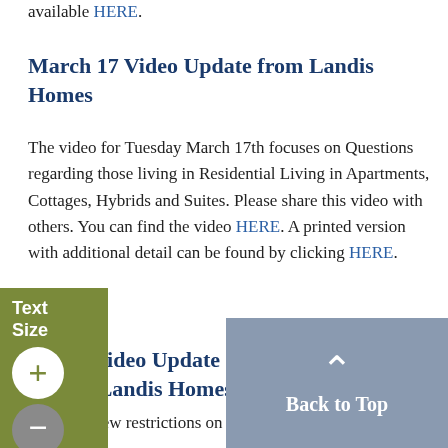available HERE.
March 17 Video Update from Landis Homes
The video for Tuesday March 17th focuses on Questions regarding those living in Residential Living in Apartments, Cottages, Hybrids and Suites. Please share this video with others. You can find the video HERE. A printed version with additional detail can be found by clicking HERE.
March 16 Video Update regarding traffic concerns at Landis Homes
ay began new restrictions on visitors to Landis